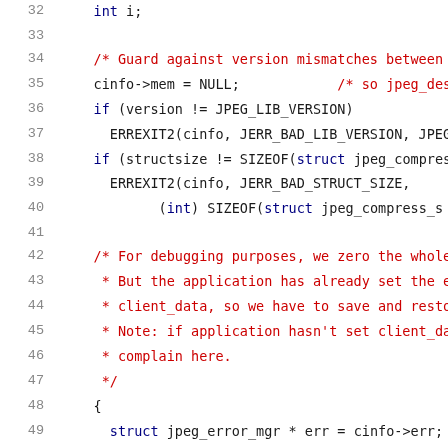[Figure (screenshot): Source code listing in C, lines 32-52, showing JPEG library initialization code with syntax highlighting. Line numbers in gray on left, comments in red, code in black/dark colors.]